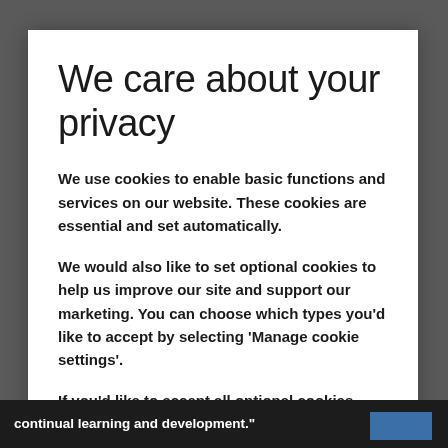We care about your privacy
We use cookies to enable basic functions and services on our website. These cookies are essential and set automatically.
We would also like to set optional cookies to help us improve our site and support our marketing. You can choose which types you'd like to accept by selecting 'Manage cookie settings'.
If you'd like to accept all optional cookies, select
continual learning and development."